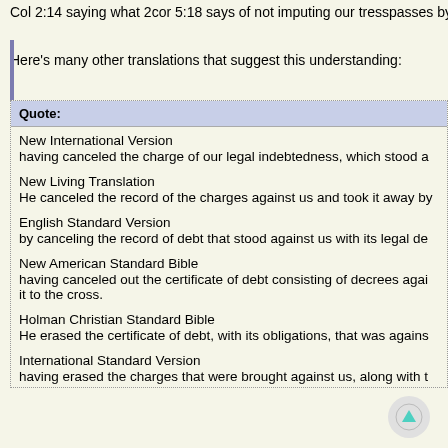Col 2:14 saying what 2cor 5:18 says of not imputing our tresspasses by ca
Here's many other translations that suggest this understanding:
Quote:
New International Version
having canceled the charge of our legal indebtedness, which stood a
New Living Translation
He canceled the record of the charges against us and took it away by
English Standard Version
by canceling the record of debt that stood against us with its legal de
New American Standard Bible
having canceled out the certificate of debt consisting of decrees agai
it to the cross.
Holman Christian Standard Bible
He erased the certificate of debt, with its obligations, that was agains
International Standard Version
having erased the charges that were brought against us, along with t